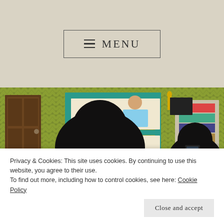≡ MENU
[Figure (illustration): Illustrated bedroom scene with bunk beds, yellow chevron wallpaper, brown door, bookshelf, silhouetted figures in foreground]
DIANA VALENTINE DESIGN
[Figure (photo): Dark starry night sky background]
THE CAKE CRUSADERS
Privacy & Cookies: This site uses cookies. By continuing to use this website, you agree to their use.
To find out more, including how to control cookies, see here: Cookie Policy
Close and accept